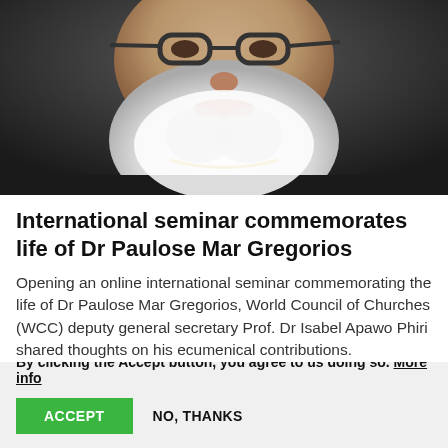[Figure (photo): Close-up portrait of an elderly man with white beard and glasses, smiling]
International seminar commemorates life of Dr Paulose Mar Gregorios
Opening an online international seminar commemorating the life of Dr Paulose Mar Gregorios, World Council of Churches (WCC) deputy general secretary Prof. Dr Isabel Apawo Phiri shared thoughts on his ecumenical contributions.
We use cookies on this site to enhance your user experience
By clicking the Accept button, you agree to us doing so. More info